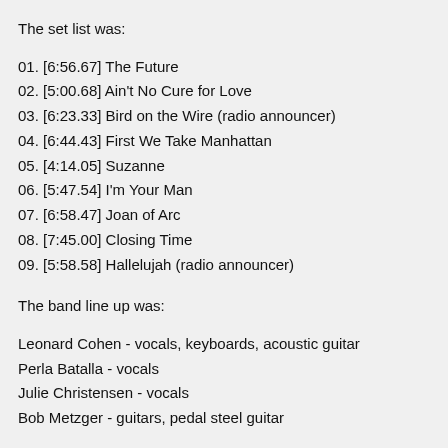The set list was:
01. [6:56.67] The Future
02. [5:00.68] Ain't No Cure for Love
03. [6:23.33] Bird on the Wire (radio announcer)
04. [6:44.43] First We Take Manhattan
05. [4:14.05] Suzanne
06. [5:47.54] I'm Your Man
07. [6:58.47] Joan of Arc
08. [7:45.00] Closing Time
09. [5:58.58] Hallelujah (radio announcer)
The band line up was:
Leonard Cohen - vocals, keyboards, acoustic guitar
Perla Batalla - vocals
Julie Christensen - vocals
Bob Metzger - guitars, pedal steel guitar